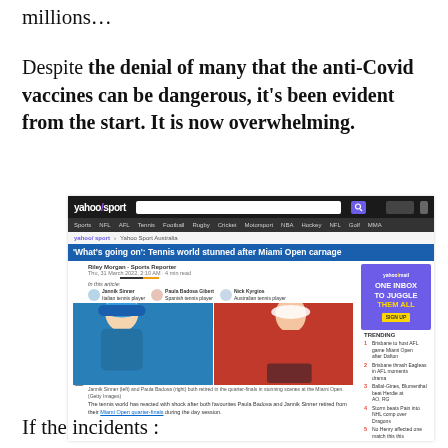millions...
Despite the denial of many that the anti-Covid vaccines can be dangerous, it's been evident from the start. It is now overwhelming.
[Figure (screenshot): Screenshot of Yahoo Sport article: 'What's going on': Tennis world stunned after Miami Open carnage. By Riley Morgan, Sports Reporter. Shows two tennis players (Jannik Sinner and Paula Badosa), Yahoo Mail advertisement sidebar, and trending stories list.]
If the incidents :